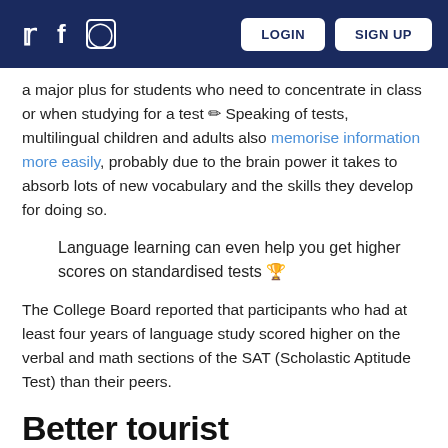LOGIN   SIGN UP
a major plus for students who need to concentrate in class or when studying for a test ✏ Speaking of tests, multilingual children and adults also memorise information more easily, probably due to the brain power it takes to absorb lots of new vocabulary and the skills they develop for doing so.
Language learning can even help you get higher scores on standardised tests 🏆
The College Board reported that participants who had at least four years of language study scored higher on the verbal and math sections of the SAT (Scholastic Aptitude Test) than their peers.
Better tourist
Paris is infamous for its bad service and